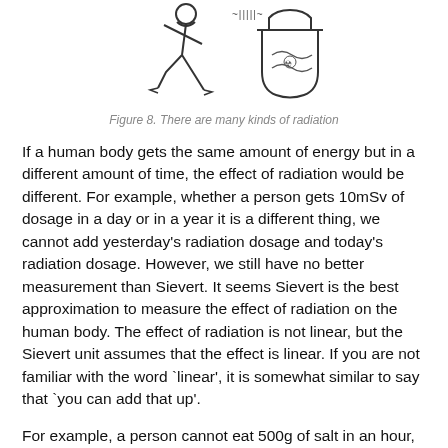[Figure (illustration): Hand-drawn illustration of a person running away from a beaker/flask containing radioactive or chemical material, representing different kinds of radiation.]
Figure 8. There are many kinds of radiation
If a human body gets the same amount of energy but in a different amount of time, the effect of radiation would be different. For example, whether a person gets 10mSv of dosage in a day or in a year it is a different thing, we cannot add yesterday's radiation dosage and today's radiation dosage. However, we still have no better measurement than Sievert. It seems Sievert is the best approximation to measure the effect of radiation on the human body. The effect of radiation is not linear, but the Sievert unit assumes that the effect is linear. If you are not familiar with the word `linear', it is somewhat similar to say that `you can add that up'.
For example, a person cannot eat 500g of salt in an hour, that probably causes death. However, if the same person uses 10g